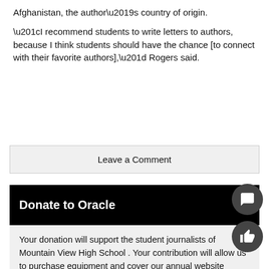Afghanistan, the author’s country of origin.
“I recommend students to write letters to authors, because I think students should have the chance [to connect with their favorite authors],” Rogers said.
Leave a Comment
Donate to Oracle
Your donation will support the student journalists of Mountain View High School . Your contribution will allow us to purchase equipment and cover our annual website hosting costs.